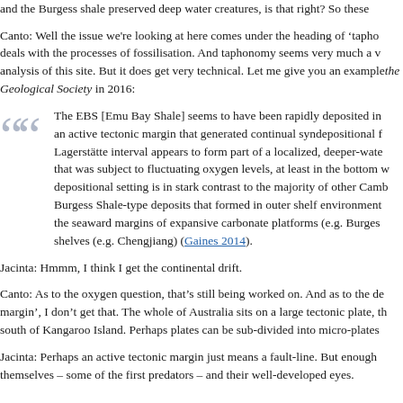and the Burgess shale preserved deep water creatures, is that right? So these
Canto: Well the issue we're looking at here comes under the heading of 'tapho... deals with the processes of fossilisation. And taphonomy seems very much a v... analysis of this site. But it does get very technical. Let me give you an example... the Geological Society in 2016:
The EBS [Emu Bay Shale] seems to have been rapidly deposited in... an active tectonic margin that generated continual syndepositional f... Lagerstätte interval appears to form part of a localized, deeper-wate... that was subject to fluctuating oxygen levels, at least in the bottom w... depositional setting is in stark contrast to the majority of other Camb... Burgess Shale-type deposits that formed in outer shelf environment... the seaward margins of expansive carbonate platforms (e.g. Burges... shelves (e.g. Chengjiang) (Gaines 2014).
Jacinta: Hmmm, I think I get the continental drift.
Canto: As to the oxygen question, that's still being worked on. And as to the de... margin', I don't get that. The whole of Australia sits on a large tectonic plate, th... south of Kangaroo Island. Perhaps plates can be sub-divided into micro-plates
Jacinta: Perhaps an active tectonic margin just means a fault-line. But enough... themselves – some of the first predators – and their well-developed eyes.